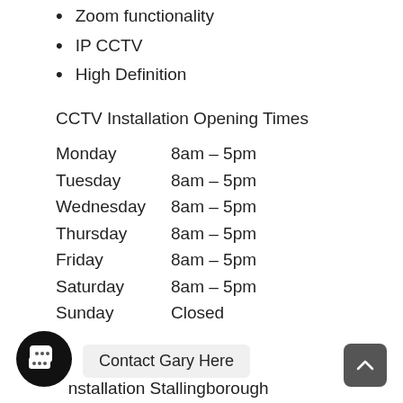Zoom functionality
IP CCTV
High Definition
CCTV Installation Opening Times
| Day | Hours |
| --- | --- |
| Monday | 8am – 5pm |
| Tuesday | 8am – 5pm |
| Wednesday | 8am – 5pm |
| Thursday | 8am – 5pm |
| Friday | 8am – 5pm |
| Saturday | 8am – 5pm |
| Sunday | Closed |
Contact Details
CCTV Installation Stallingborough
Delta Court